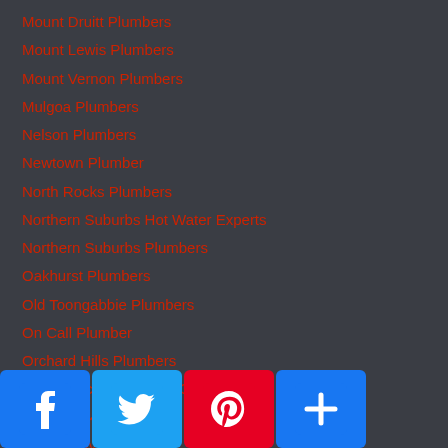Mount Druitt Plumbers
Mount Lewis Plumbers
Mount Vernon Plumbers
Mulgoa Plumbers
Nelson Plumbers
Newtown Plumber
North Rocks Plumbers
Northern Suburbs Hot Water Experts
Northern Suburbs Plumbers
Oakhurst Plumbers
Old Toongabbie Plumbers
On Call Plumber
Orchard Hills Plumbers
Our Service Terms and Conditions
Oxley Park Plumbers
Oyster Bay Plumbers
Padstow Plumbers
Parklea Plumbers
[Figure (other): Social media sharing buttons: Facebook, Twitter, Pinterest, and a generic share/add button]